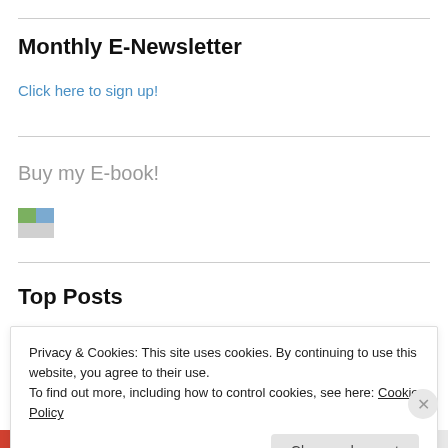Monthly E-Newsletter
Click here to sign up!
Buy my E-book!
[Figure (illustration): Small broken image icon placeholder for e-book cover]
Top Posts
Privacy & Cookies: This site uses cookies. By continuing to use this website, you agree to their use.
To find out more, including how to control cookies, see here: Cookie Policy
Close and accept